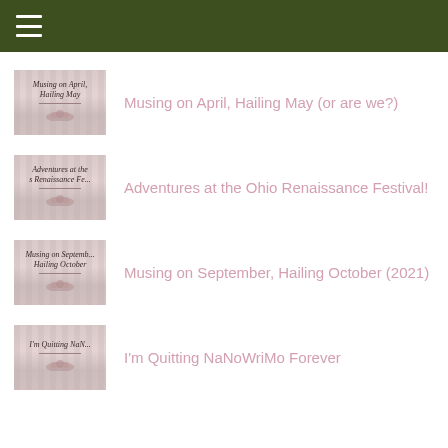Navigation menu
Musing on April, Hailing May (or are we?)
Adventures at the Ohio Renaissance Festival!
Musing on September, Hailing October (2021)
I'm Quitting NaNoWriMo Forever